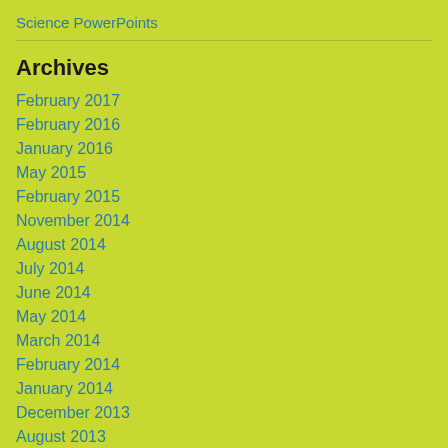Science PowerPoints
Archives
February 2017
February 2016
January 2016
May 2015
February 2015
November 2014
August 2014
July 2014
June 2014
May 2014
March 2014
February 2014
January 2014
December 2013
August 2013